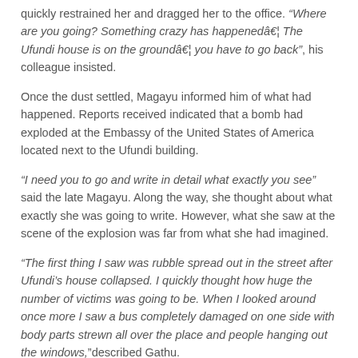quickly restrained her and dragged her to the office. “Where are you going? Something crazy has happened… The Ufundi house is on the ground… you have to go back”, his colleague insisted.
Once the dust settled, Magayu informed him of what had happened. Reports received indicated that a bomb had exploded at the Embassy of the United States of America located next to the Ufundi building.
“I need you to go and write in detail what exactly you see” said the late Magayu. Along the way, she thought about what exactly she was going to write. However, what she saw at the scene of the explosion was far from what she had imagined.
“The first thing I saw was rubble spread out in the street after Ufundi’s house collapsed. I quickly thought how huge the number of victims was going to be. When I looked around once more I saw a bus completely damaged on one side with body parts strewn all over the place and people hanging out the windows,” described Gathu.